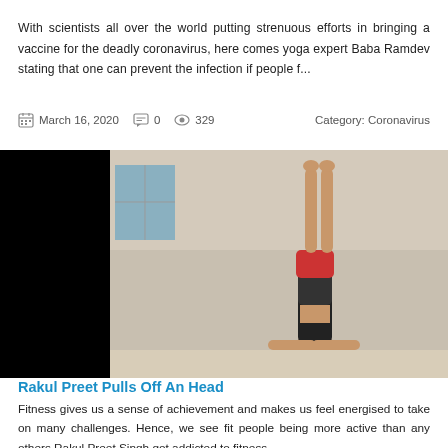With scientists all over the world putting strenuous efforts in bringing a vaccine for the deadly coronavirus, here comes yoga expert Baba Ramdev stating that one can prevent the infection if people f...
March 16, 2020   0   329   Category: Coronavirus
[Figure (photo): A person performing a headstand yoga pose in a room, with legs pointing straight up. The room has a wooden door, some equipment and plants in the background.]
Rakul Preet Pulls Off An Head
Fitness gives us a sense of achievement and makes us feel energised to take on many challenges. Hence, we see fit people being more active than any others Rakul Preet Singh got addicted to fitness ...